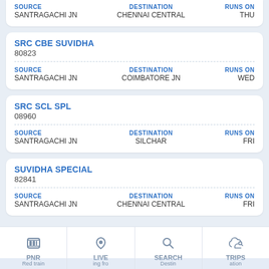SOURCE: SANTRAGACHI JN | DESTINATION: CHENNAI CENTRAL | RUNS ON: THU
SRC CBE SUVIDHA
80823
SOURCE: SANTRAGACHI JN | DESTINATION: COIMBATORE JN | RUNS ON: WED
SRC SCL SPL
08960
SOURCE: SANTRAGACHI JN | DESTINATION: SILCHAR | RUNS ON: FRI
SUVIDHA SPECIAL
82841
SOURCE: SANTRAGACHI JN | DESTINATION: CHENNAI CENTRAL | RUNS ON: FRI
[Figure (screenshot): Bottom navigation bar with PNR, LIVE, SEARCH, TRIPS icons]